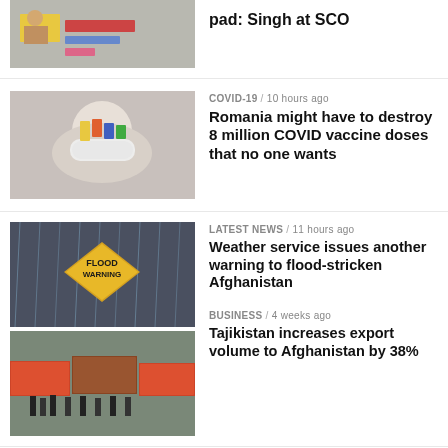[Figure (photo): Person at table with Indian flag sign]
pad: Singh at SCO
[Figure (photo): Person wearing medical mask]
COVID-19 / 10 hours ago
Romania might have to destroy 8 million COVID vaccine doses that no one wants
[Figure (photo): Flood warning sign in rain]
LATEST NEWS / 11 hours ago
Weather service issues another warning to flood-stricken Afghanistan
[Figure (photo): Cargo containers with people]
BUSINESS / 4 weeks ago
Tajikistan increases export volume to Afghanistan by 38%
[Figure (photo): Cricket players in green jerseys, number 22]
SPORT / 4 weeks ago
Ireland announce squad for South Africa, Afghanistan T20Is
[Figure (photo): Building exterior]
BUSINESS / 4 weeks ago
Afghanistan, Pakistan flights to endorse air to...